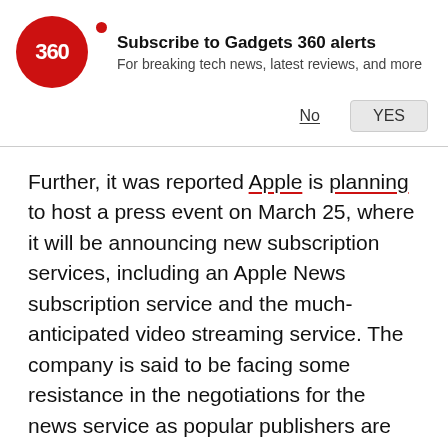[Figure (logo): Gadgets 360 red circular logo with '360' text in white]
Subscribe to Gadgets 360 alerts
For breaking tech news, latest reviews, and more
No   YES
Further, it was reported Apple is planning to host a press event on March 25, where it will be announcing new subscription services, including an Apple News subscription service and the much-anticipated video streaming service. The company is said to be facing some resistance in the negotiations for the news service as popular publishers are not happy with Apple's proposed revenue sharing terms. On the other hand, the company's video streaming service may be unveiled next month, but it is being said that consumers won't be able to experience it anytime soon. Variety claims that the service may not be rolled out until summer or even